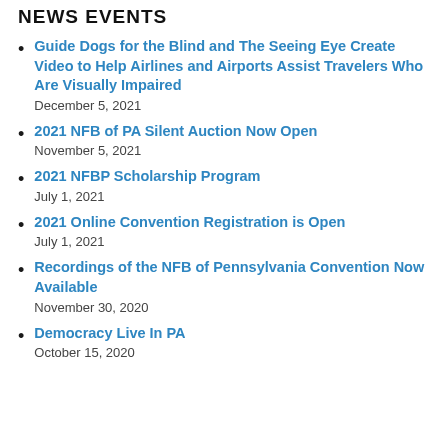NEWS EVENTS
Guide Dogs for the Blind and The Seeing Eye Create Video to Help Airlines and Airports Assist Travelers Who Are Visually Impaired
December 5, 2021
2021 NFB of PA Silent Auction Now Open
November 5, 2021
2021 NFBP Scholarship Program
July 1, 2021
2021 Online Convention Registration is Open
July 1, 2021
Recordings of the NFB of Pennsylvania Convention Now Available
November 30, 2020
Democracy Live In PA
October 15, 2020